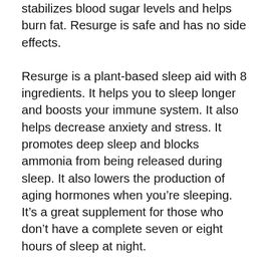stabilizes blood sugar levels and helps burn fat. Resurge is safe and has no side effects.
Resurge is a plant-based sleep aid with 8 ingredients. It helps you to sleep longer and boosts your immune system. It also helps decrease anxiety and stress. It promotes deep sleep and blocks ammonia from being released during sleep. It also lowers the production of aging hormones when you're sleeping. It's a great supplement for those who don't have a complete seven or eight hours of sleep at night.
Resurge is a fantastic supplement for those who don't have the desire or need to adhere to an exact diet. It works by enhancing the natural psychology of sleep by increasing